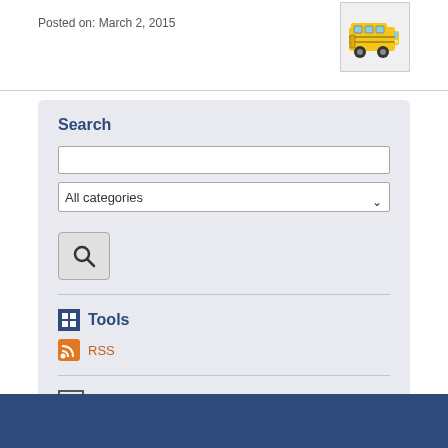Posted on: March 2, 2015
[Figure (illustration): Small cartoon image of a yellow school bus at top right corner]
Search
All categories (dropdown)
Tools
RSS
Categories
All Categories
Home
H&A Calendar